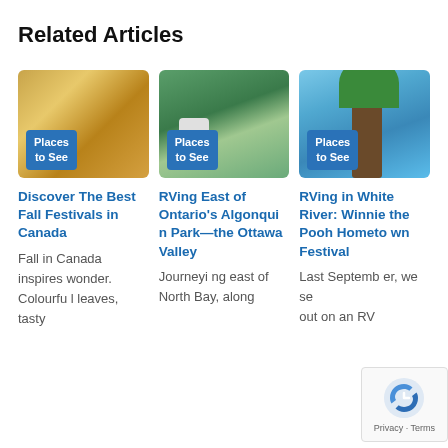Related Articles
[Figure (photo): Photo of golden fall wheat/grain field]
[Figure (photo): Photo of RV among green trees in Ontario]
[Figure (photo): Photo of tree sculpture against blue sky in White River]
Discover The Best Fall Festivals in Canada
RVing East of Ontario's Algonquin Park—the Ottawa Valley
RVing in White River: Winnie the Pooh Hometown Festival
Fall in Canada inspires wonder. Colourful leaves, tasty
Journeying east of North Bay, along
Last September, we set out on an RV